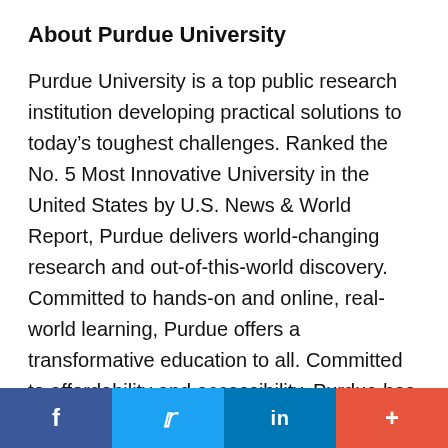About Purdue University
Purdue University is a top public research institution developing practical solutions to today’s toughest challenges. Ranked the No. 5 Most Innovative University in the United States by U.S. News & World Report, Purdue delivers world-changing research and out-of-this-world discovery. Committed to hands-on and online, real-world learning, Purdue offers a transformative education to all. Committed to affordability and accessibility, Purdue has frozen tuition and most fees at 2012-13 levels, enabling more students than ever to graduate debt-free. See how Purdue never stops in the
f  [Twitter bird]  in  +